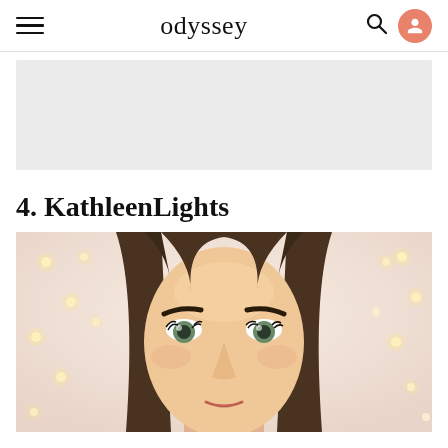odyssey
[Figure (other): Gray advertisement placeholder block]
4. KathleenLights
[Figure (photo): Close-up photo of a young woman with straight brown hair, green eyes, and makeup including prominent eyebrows and mascara, with string fairy lights in the background on a light pink/white backdrop.]